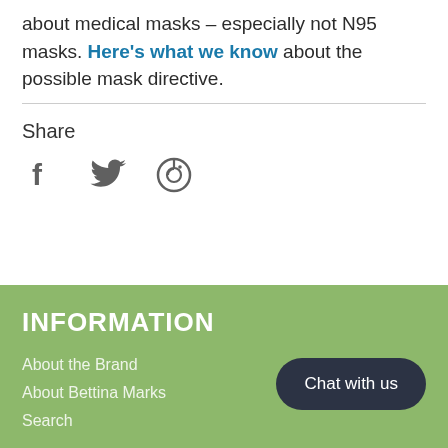about medical masks – especially not N95 masks. Here's what we know about the possible mask directive.
Share
[Figure (other): Social share icons: Facebook (f), Twitter (bird), Pinterest (P circle)]
INFORMATION
About the Brand
About Bettina Marks
Search
Chat with us